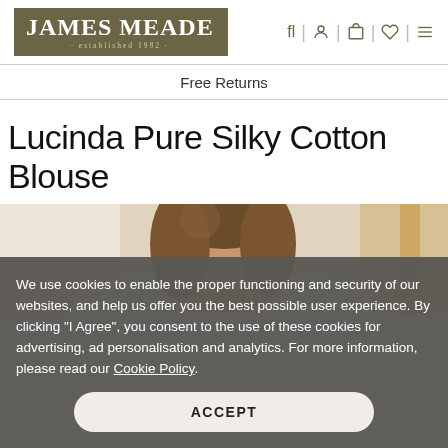[Figure (logo): James Meade established 1982 logo in olive/brown box]
Free Returns
Lucinda Pure Silky Cotton Blouse
[Figure (photo): Photo of a woman with brown hair, partial face visible, wearing a light-coloured blouse, warm indoor background]
We use cookies to enable the proper functioning and security of our websites, and help us offer you the best possible user experience. By clicking "I Agree", you consent to the use of these cookies for advertising, ad personalisation and analytics. For more information, please read our Cookie Policy.